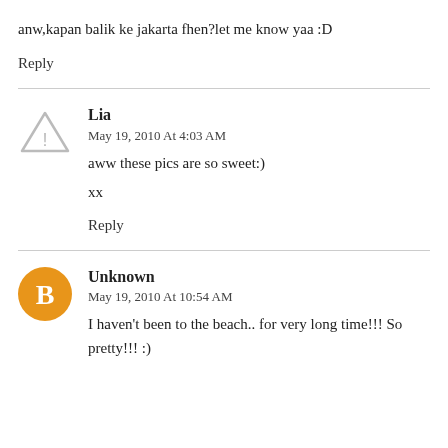anw,kapan balik ke jakarta fhen?let me know yaa :D
Reply
Lia
May 19, 2010 At 4:03 AM
aww these pics are so sweet:)
xx
Reply
Unknown
May 19, 2010 At 10:54 AM
I haven't been to the beach.. for very long time!!! So pretty!!! :)